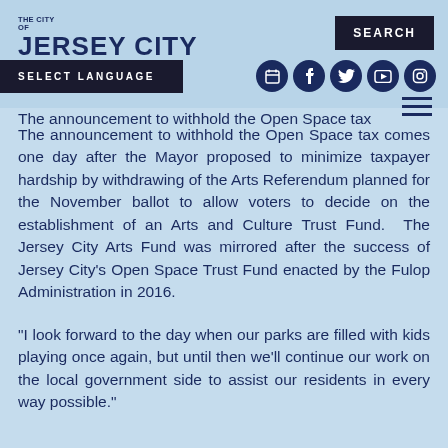THE CITY OF JERSEY CITY
The announcement to withhold the Open Space tax comes one day after the Mayor proposed to minimize taxpayer hardship by withdrawing of the Arts Referendum planned for the November ballot to allow voters to decide on the establishment of an Arts and Culture Trust Fund. The Jersey City Arts Fund was mirrored after the success of Jersey City's Open Space Trust Fund enacted by the Fulop Administration in 2016.
"I look forward to the day when our parks are filled with kids playing once again, but until then we'll continue our work on the local government side to assist our residents in every way possible."